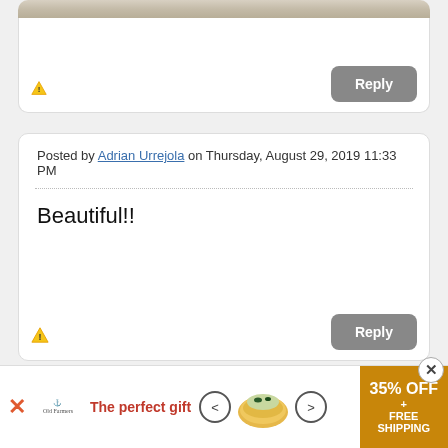[Figure (screenshot): Top portion of a comment card showing a partial sandy/textured image at the top, with a warning icon at bottom-left and a grey Reply button at bottom-right.]
Posted by Adrian Urrejola on Thursday, August 29, 2019 11:33 PM
Beautiful!!
[Figure (screenshot): Bottom portion of comment card with warning icon at bottom-left and grey Reply button at bottom-right.]
[Figure (screenshot): Advertisement bar at the bottom showing 'The perfect gift' with bowl image and '35% OFF + FREE SHIPPING' offer.]